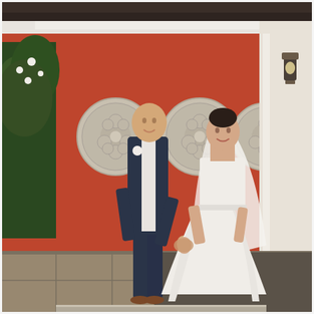[Figure (photo): Wedding photo of a couple holding hands and walking together in front of a terracotta-red wall decorated with three circular stone relief medallions featuring floral motifs. The groom is bald, wearing a navy blue suit with a white shirt and a white boutonniere. The bride wears a white strapless ball gown with a tulle skirt and a long white veil, with dark hair pinned up. Green plants are visible on the left side. The building exterior shows white trim, a dark roof, and a wall-mounted lantern on the right. The foreground shows stone/tile pavement.]